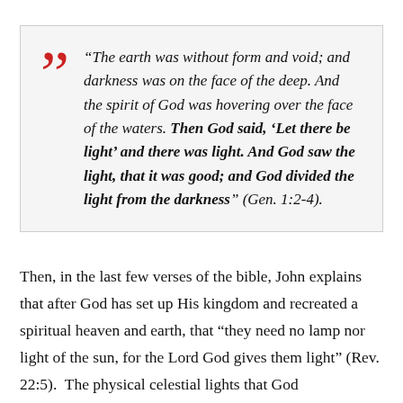“The earth was without form and void; and darkness was on the face of the deep. And the spirit of God was hovering over the face of the waters. Then God said, ‘Let there be light’ and there was light. And God saw the light, that it was good; and God divided the light from the darkness” (Gen. 1:2-4).
Then, in the last few verses of the bible, John explains that after God has set up His kingdom and recreated a spiritual heaven and earth, that “they need no lamp nor light of the sun, for the Lord God gives them light” (Rev. 22:5).  The physical celestial lights that God